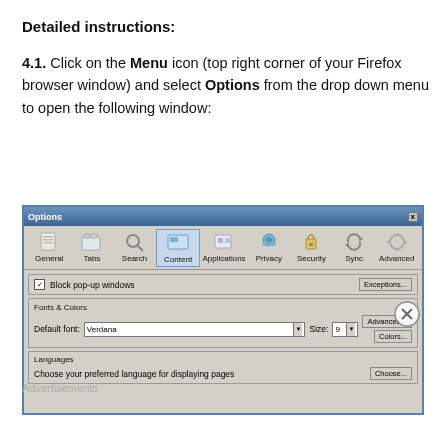Detailed instructions:
4.1. Click on the Menu icon (top right corner of your Firefox browser window) and select Options from the drop down menu to open the following window:
[Figure (screenshot): Firefox Options dialog showing the Content tab selected, with sections for Block pop-up windows, Fonts & Colors (Default font: Verdana, Size: 9), and Languages.]
Advertisements